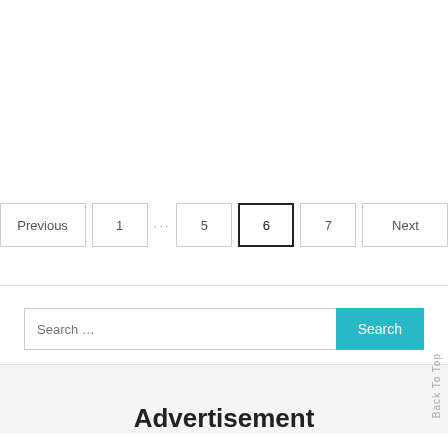[Figure (screenshot): Pagination navigation bar with buttons: Previous, 1, ..., 5, 6 (active/selected with bold border), 7, Next]
[Figure (screenshot): Search bar with placeholder text 'Search ...' and a teal 'Search' button on the right]
Back To Top
Advertisement